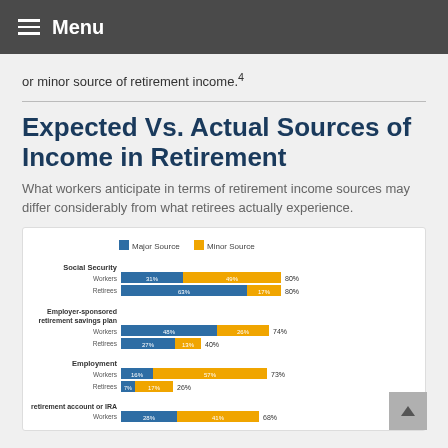Menu
or minor source of retirement income.4
Expected Vs. Actual Sources of Income in Retirement
What workers anticipate in terms of retirement income sources may differ considerably from what retirees actually experience.
[Figure (grouped-bar-chart): Expected Vs. Actual Sources of Income in Retirement]